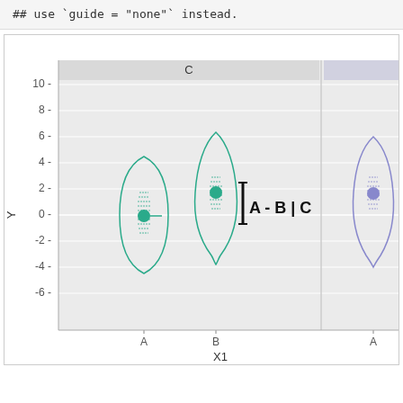## use `guide = "none"` instead.
[Figure (continuous-plot): Violin plot showing distribution of Y values across X1 categories A and B under facet C (green violins), and partially visible facet with purple violin for category A. An annotation 'A - B | C' with a confidence interval bar is overlaid on the plot. Y axis ranges from about -6 to 10, with gridlines at -6, -4, -2, 0, 2, 4, 6, 8, 10. X axis shows categories A and B with label X1.]